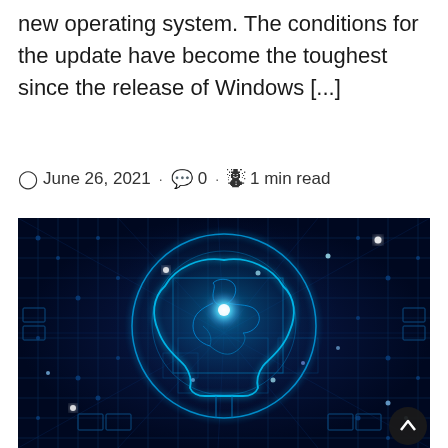new operating system. The conditions for the update have become the toughest since the release of Windows [...]
June 26, 2021 · 0 · 1 min read
[Figure (illustration): Digital illustration of a glowing blue human brain outline overlaid on a circuit board background, with neon blue lines and light points suggesting artificial intelligence or neural network technology.]